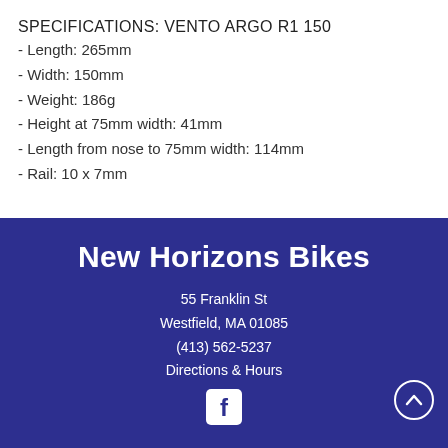SPECIFICATIONS: VENTO ARGO R1 150
- Length: 265mm
- Width: 150mm
- Weight: 186g
- Height at 75mm width: 41mm
- Length from nose to 75mm width: 114mm
- Rail: 10 x 7mm
New Horizons Bikes
55 Franklin St
Westfield, MA 01085
(413) 562-5237
Directions & Hours